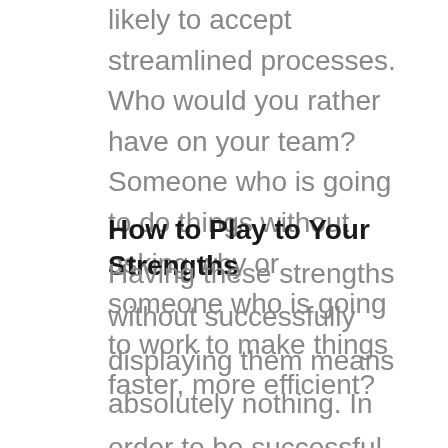likely to accept streamlined processes. Who would you rather have on your team? Someone who is going to do things without asking why or someone who is going to work to make things faster, more efficient?
How to Play to Your Strengths
Having these strengths without successfully displaying them means absolutely nothing. In order to be successful in your career and in the work place, you have to learn to display these in the best way. Coming across too strong can lead people to look to your poor relationship skills and ignore